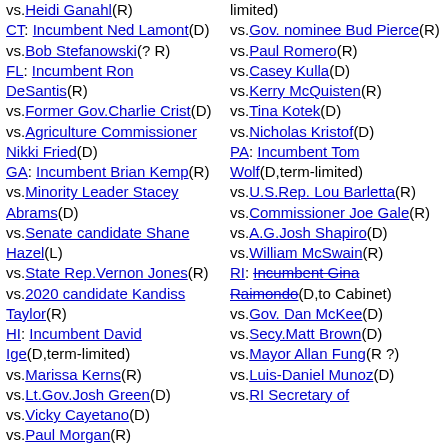vs.Heidi Ganahl(R)
CT: Incumbent Ned Lamont(D)
vs.Bob Stefanowski(? R)
FL: Incumbent Ron DeSantis(R)
vs.Former Gov.Charlie Crist(D)
vs.Agriculture Commissioner Nikki Fried(D)
GA: Incumbent Brian Kemp(R)
vs.Minority Leader Stacey Abrams(D)
vs.Senate candidate Shane Hazel(L)
vs.State Rep.Vernon Jones(R)
vs.2020 candidate Kandiss Taylor(R)
HI: Incumbent David Ige(D,term-limited)
vs.Marissa Kerns(R)
vs.Lt.Gov.Josh Green(D)
vs.Vicky Cayetano(D)
vs.Paul Morgan(R)
IA: Incumbent Kim Reynolds(R)
limited)
vs.Gov. nominee Bud Pierce(R)
vs.Paul Romero(R)
vs.Casey Kulla(D)
vs.Kerry McQuisten(R)
vs.Tina Kotek(D)
vs.Nicholas Kristof(D)
PA: Incumbent Tom Wolf(D,term-limited)
vs.U.S.Rep. Lou Barletta(R)
vs.Commissioner Joe Gale(R)
vs.A.G.Josh Shapiro(D)
vs.William McSwain(R)
RI: Incumbent Gina Raimondo(D,to Cabinet)
vs.Gov. Dan McKee(D)
vs.Secy.Matt Brown(D)
vs.Mayor Allan Fung(R ?)
vs.Luis-Daniel Munoz(D)
vs.RI Secretary of